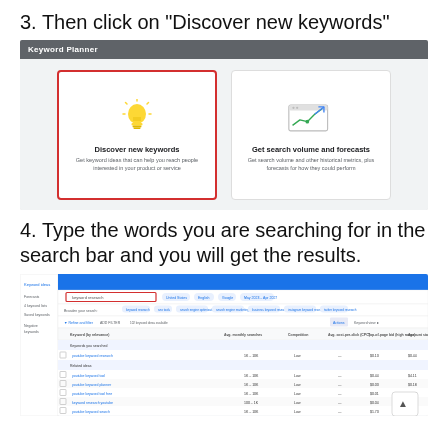3. Then click on "Discover new keywords"
[Figure (screenshot): Google Keyword Planner interface screenshot showing two option cards: 'Discover new keywords' (highlighted with red border, with lightbulb icon) and 'Get search volume and forecasts' (with chart/graph icon). The header reads 'Keyword Planner' on a dark grey background.]
4. Type the words you are searching for in the search bar and you will get the results.
[Figure (screenshot): Google Keyword Planner results page screenshot showing keyword ideas table with columns for keyword, Avg. monthly searches, Competition, etc. A red-bordered search bar is visible at the top with search term entered. Multiple keyword rows are shown in the results table.]